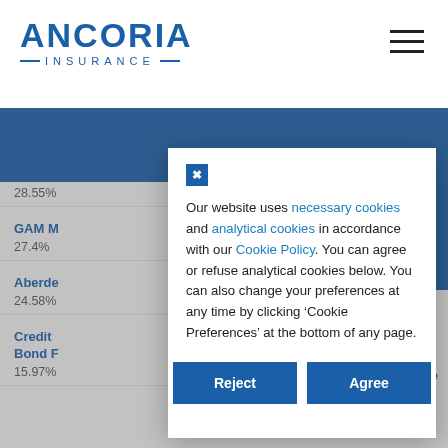[Figure (logo): Ancoria Insurance logo with blue text]
28.55%
GAM M... Bond
27.4%
Aberde...
24.58%
Credit... ce Bond F...
15.97%
Our website uses necessary cookies and analytical cookies in accordance with our Cookie Policy. You can agree or refuse analytical cookies below. You can also change your preferences at any time by clicking ‘Cookie Preferences’ at the bottom of any page.